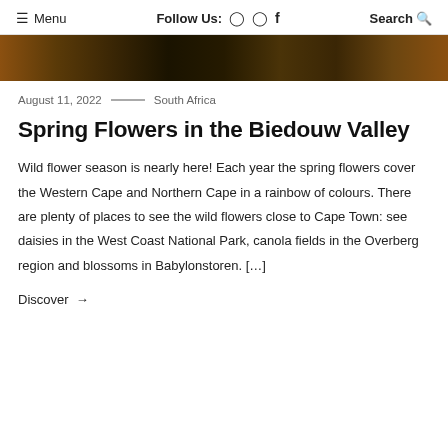≡ Menu   Follow Us: ⊕ ⊙ f   Search 🔍
[Figure (photo): Dark amber and brown toned hero image, likely a field of flowers at dusk or close-up of flowers]
August 11, 2022 —— South Africa
Spring Flowers in the Biedouw Valley
Wild flower season is nearly here! Each year the spring flowers cover the Western Cape and Northern Cape in a rainbow of colours. There are plenty of places to see the wild flowers close to Cape Town: see daisies in the West Coast National Park, canola fields in the Overberg region and blossoms in Babylonstoren. […]
Discover →